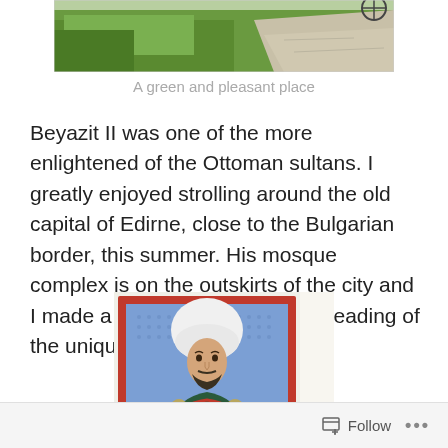[Figure (photo): Top portion of a photo showing green grass/garden and a stone path]
A green and pleasant place
Beyazit II was one of the more enlightened of the Ottoman sultans. I greatly enjoyed strolling around the old capital of Edirne, close to the Bulgarian border, this summer. His mosque complex is on the outskirts of the city and I made a point of visiting it after reading of the unique hospital there.
[Figure (illustration): Ottoman-style portrait painting of a man wearing a large white turban, seated, with decorative blue background and red/gold border frame]
Follow ...